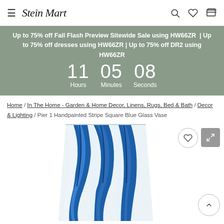Stein Mart
Up to 75% off Fall Flash Preview Sitewide Sale using HW66ZR | Up to 75% off dresses using HW66ZR | Up to 75% off DR2 using HW66ZR
11 Hours  05 Minutes  08 Seconds
Home / In The Home - Garden & Home Decor, Linens, Rugs, Bed & Bath / Decor & Lighting / Pier 1 Handpainted Stripe Square Blue Glass Vase
[Figure (photo): Blue and white handpainted striped glass vase, square shape, photographed on white background. Partial view showing top portion of vase with swirling blue stripe pattern.]